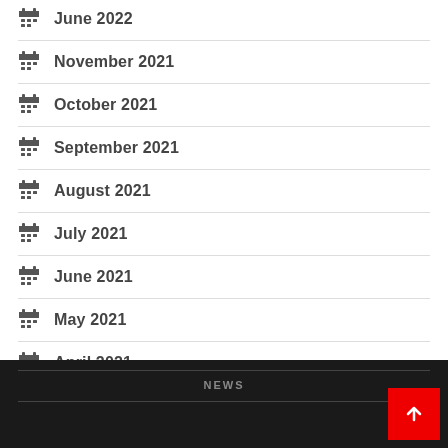June 2022
November 2021
October 2021
September 2021
August 2021
July 2021
June 2021
May 2021
April 2021
NEWS